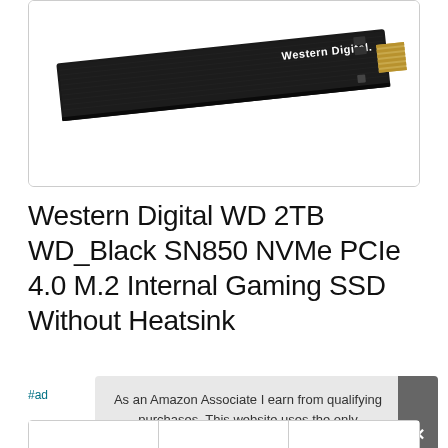[Figure (photo): Western Digital WD_Black SN850 NVMe M.2 SSD drive shown at an angle against a white background inside a rounded-corner card. The drive is black with 'Western Digital.' branding in white text on the top surface and gold connectors at one end.]
Western Digital WD 2TB WD_Black SN850 NVMe PCIe 4.0 M.2 Internal Gaming SSD Without Heatsink
#ad
As an Amazon Associate I earn from qualifying purchases. This website uses the only necessary cookies to ensure you get the best experience on our website. More information